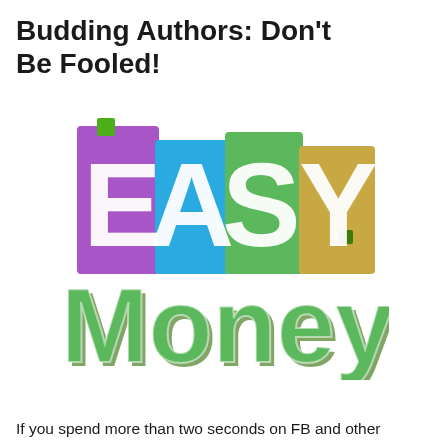Budding Authors: Don't Be Fooled!
[Figure (logo): Easy Money logo: colorful rectangular blocks in purple, blue, green, and gold containing white letters 'EASY' on top, and large green 3D-style letters 'Money' below]
If you spend more than two seconds on FB and other